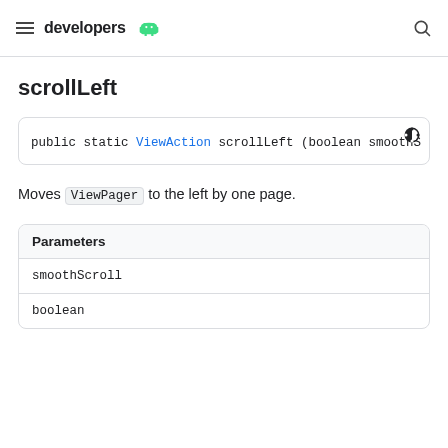developers [android logo]
scrollLeft
public static ViewAction scrollLeft (boolean smoothS
Moves ViewPager to the left by one page.
| Parameters |
| --- |
| smoothScroll |
| boolean |